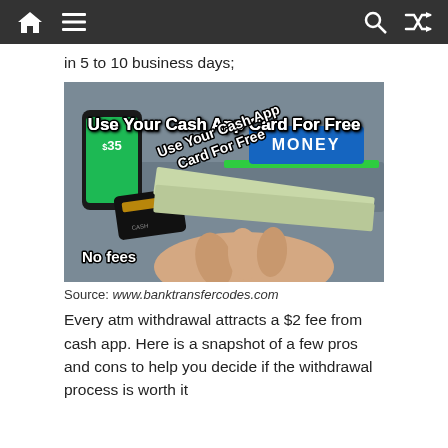Navigation bar with home, menu, search, and shuffle icons
in 5 to 10 business days;
[Figure (photo): ATM machine dispensing US dollar bills with a Cash App card and phone showing $35 balance. Text overlay reads: 'Use Your Cash App Card For Free', 'No fees', 'MONEY']
Source: www.banktransfercodes.com
Every atm withdrawal attracts a $2 fee from cash app. Here is a snapshot of a few pros and cons to help you decide if the withdrawal process is worth it